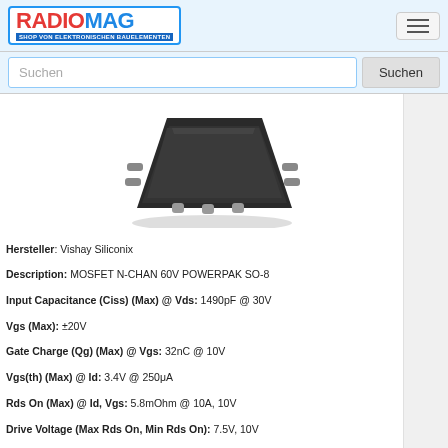RADIOMAG - SHOP VON ELEKTRONISCHEN BAUELEMENTEN
[Figure (photo): MOSFET N-CHAN 60V POWERPAK SO-8 component photo - dark grey chip package with pins]
Hersteller: Vishay Siliconix
Description: MOSFET N-CHAN 60V POWERPAK SO-8
Input Capacitance (Ciss) (Max) @ Vds: 1490pF @ 30V
Vgs (Max): ±20V
Gate Charge (Qg) (Max) @ Vgs: 32nC @ 10V
Vgs(th) (Max) @ Id: 3.4V @ 250μA
Rds On (Max) @ Id, Vgs: 5.8mOhm @ 10A, 10V
Drive Voltage (Max Rds On, Min Rds On): 7.5V, 10V
Current - Continuous Drain (Id) @ 25°C: 20.7A (Ta), 73A (Tc)
Drain to Source Voltage (Vdss): 60V
Technology: MOSFET (Metal Oxide)
FET Type: N-Channel
Part Status: Active